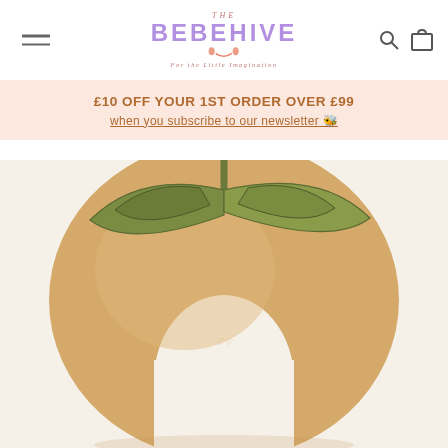THE BEBEHIVE — For the little imagination
£10 OFF YOUR 1ST ORDER OVER £99 when you subscribe to our newsletter 🐝
[Figure (photo): Close-up product photo of a tan/caramel colored soft baby head support pillow with olive green leaf-shaped silicone or rubber accents on top, shaped like a flower or crown, photographed from above at an angle, showing the U-shaped opening at the bottom.]